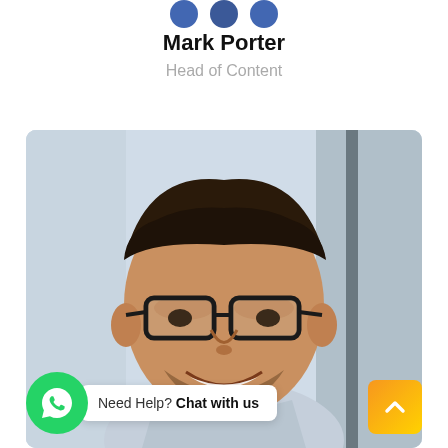[Figure (illustration): Three blue social media/share icon circles partially visible at top of page]
Mark Porter
Head of Content
[Figure (photo): Professional headshot of a smiling young man with brown hair, glasses, and beard wearing a light blue shirt, photographed indoors]
Need Help? Chat with us